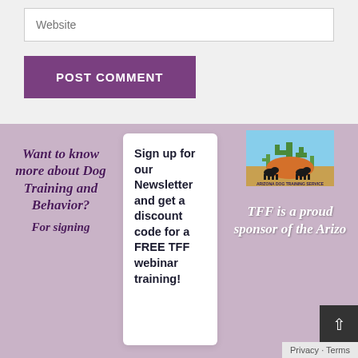Website
POST COMMENT
Want to know more about Dog Training and Behavior?
For signing
Sign up for our Newsletter and get a discount code for a FREE TFF webinar training!
[Figure (logo): Arizona dog training organization logo with cactus and dogs silhouette]
TFF is a proud sponsor of the Arizo